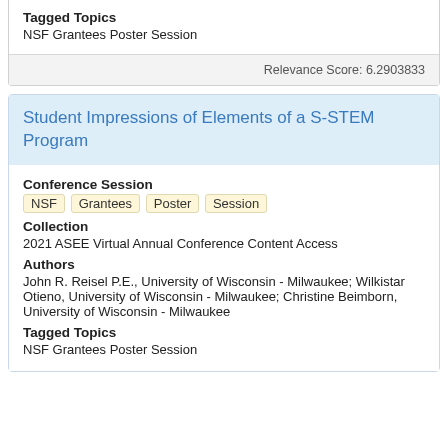Tagged Topics
NSF Grantees Poster Session
Relevance Score: 6.2903833
Student Impressions of Elements of a S-STEM Program
Conference Session
NSF  Grantees  Poster  Session
Collection
2021 ASEE Virtual Annual Conference Content Access
Authors
John R. Reisel P.E., University of Wisconsin - Milwaukee; Wilkistar Otieno, University of Wisconsin - Milwaukee; Christine Beimborn, University of Wisconsin - Milwaukee
Tagged Topics
NSF Grantees Poster Session